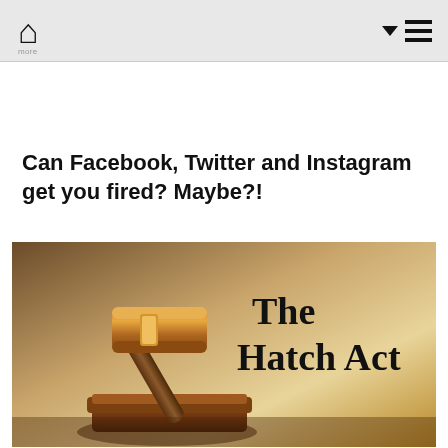Can Facebook, Twitter and Instagram get you fired? Maybe?!
[Figure (illustration): A wooden judge's gavel resting on its block against a warm golden-brown background, with bold serif text reading 'The Hatch Act' on the right side of the image.]